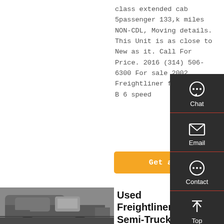class extended cab 5passenger 133,k miles NON-CDL, Moving details. This Unit is as close to New as it. Call For Price. 2016 (314) 506-6300 For sale 2002 Freightliner fl80. C... B 6 speed
Get a Quote
[Figure (photo): Freightliner semi truck photo, grey cab, parked outdoors]
Used Freightliner Semi-Trucks For Sale